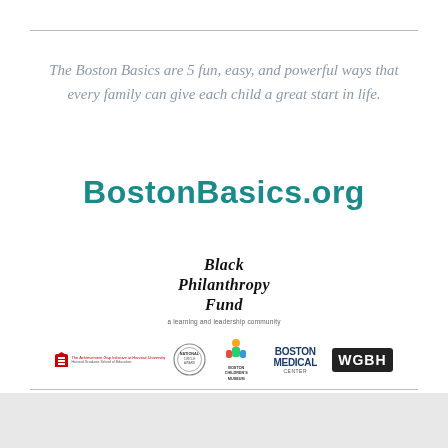The Boston Basics are 5 fun, easy, and powerful ways that every family can give each child a great start in life.
BostonBasics.org
[Figure (logo): Black Philanthropy Fund logo with text 'Black Philanthropy Fund' in bold italic and subtitle 'a learning and leadership community']
[Figure (logo): Row of partner logos: The Achievement Gap Initiative at Harvard University, National circle seal logo, Boston Children's Museum, Boston Medical Center, WGBH]